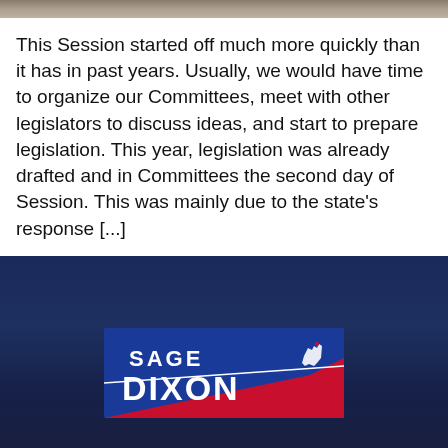[Figure (photo): Top strip showing a partial image banner at the top of the page]
This Session started off much more quickly than it has in past years. Usually, we would have time to organize our Committees, meet with other legislators to discuss ideas, and start to prepare legislation. This year, legislation was already drafted and in Committees the second day of Session. This was mainly due to the state's response [...]
[Figure (logo): Sage Dixon political logo — blue background with red diagonal stripe, white text reading SAGE DIXON with Idaho state silhouette icon]
“THE PRESERVATION OF THE SACRED FIRE OF LIBERTY, AND THE DESTINY OF THE REPUBLICAN MODEL OF GOVERNMENT, ARE JUSTLY CONSIDERED AS DEEPLY, PERHAPS AS FINALLY STAKED, ON THE EXPERIMENT